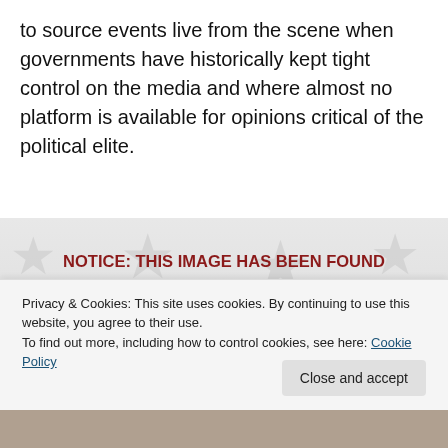to source events live from the scene when governments have historically kept tight control on the media and where almost no platform is available for opinions critical of the political elite.
[Figure (infographic): SOPA notice image with stars background and red dome graphic. Text reads: NOTICE: THIS IMAGE HAS BEEN FOUND IN VIOLATION OF H.R. 3261, S.O.P.A. AND HAS BEEN REMOVED]
Privacy & Cookies: This site uses cookies. By continuing to use this website, you agree to their use.
To find out more, including how to control cookies, see here: Cookie Policy
Close and accept